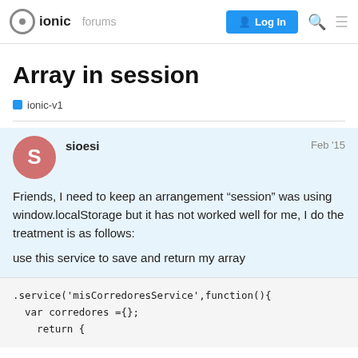ionic  forums  Log In
Array in session
ionic-v1
sioesi  Feb '15
Friends, I need to keep an arrangement “session” was using window.localStorage but it has not worked well for me, I do the treatment is as follows:
use this service to save and return my array
.service('misCorredoresService',function(){
  var corredores ={};
    return {